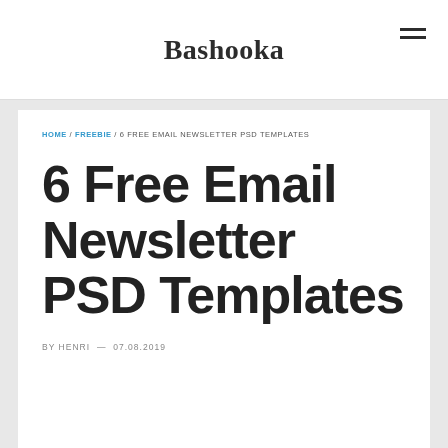Bashooka
HOME / FREEBIE / 6 FREE EMAIL NEWSLETTER PSD TEMPLATES
6 Free Email Newsletter PSD Templates
BY HENRI — 07.08.2019